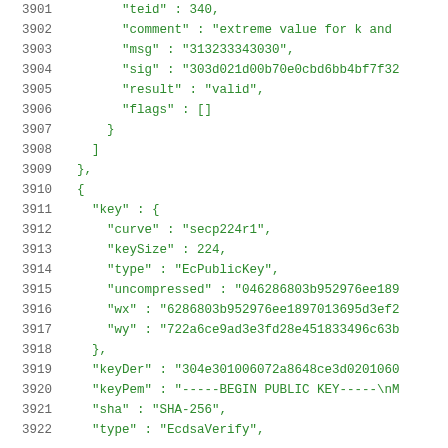3901  "teid" : 340,
3902      "comment" : "extreme value for k and
3903      "msg" : "313233343030",
3904      "sig" : "303d021d00b70e0cbd6bb4bf7f32
3905      "result" : "valid",
3906      "flags" : []
3907    }
3908  ]
3909  },
3910  {
3911    "key" : {
3912      "curve" : "secp224r1",
3913      "keySize" : 224,
3914      "type" : "EcPublicKey",
3915      "uncompressed" : "046286803b952976ee189
3916      "wx" : "6286803b952976ee1897013695d3ef2
3917      "wy" : "722a6ce9ad3e3fd28e451833496c63b
3918    },
3919    "keyDer" : "304e301006072a8648ce3d020106
3920    "keyPem" : "-----BEGIN PUBLIC KEY-----\nM
3921    "sha" : "SHA-256",
3922    "type" : "EcdsaVerify",